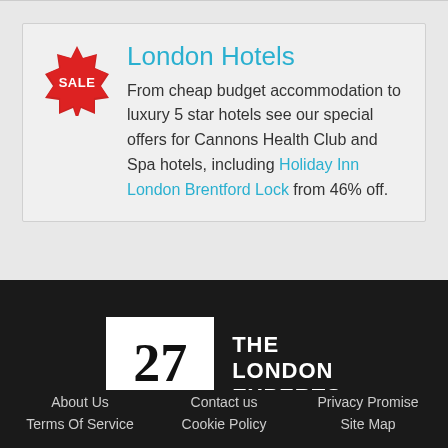[Figure (infographic): Red star-burst sale badge with white text reading SALE]
London Hotels
From cheap budget accommodation to luxury 5 star hotels see our special offers for Cannons Health Club and Spa hotels, including Holiday Inn London Brentford Lock from 46% off.
[Figure (logo): White box with large number 27 and text YEARS below it, next to text THE LONDON EXPERTS in white on black background]
About Us   Contact us   Privacy Promise   Terms Of Service   Cookie Policy   Site Map